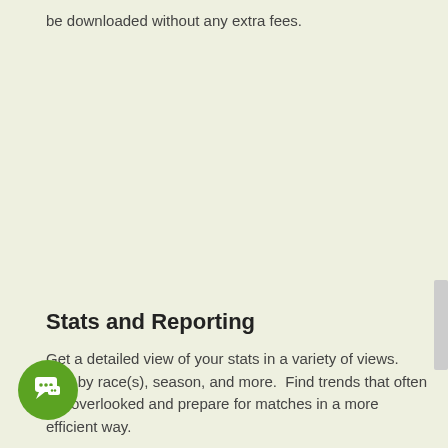be downloaded without any extra fees.
Stats and Reporting
Get a detailed view of your stats in a variety of views. Sort by race(s), season, and more.  Find trends that often get overlooked and prepare for matches in a more efficient way.
[Figure (illustration): Green circular chat/messaging button with speech bubble icon in white, positioned at bottom left of page.]